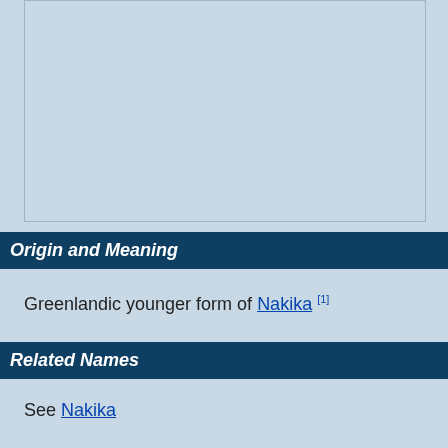[Figure (other): Light blue rectangular image placeholder box with border]
Origin and Meaning
Greenlandic younger form of Nakika [1]
Related Names
See Nakika